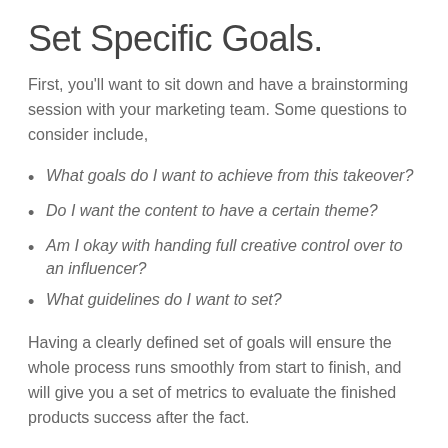Set Specific Goals.
First, you'll want to sit down and have a brainstorming session with your marketing team. Some questions to consider include,
What goals do I want to achieve from this takeover?
Do I want the content to have a certain theme?
Am I okay with handing full creative control over to an influencer?
What guidelines do I want to set?
Having a clearly defined set of goals will ensure the whole process runs smoothly from start to finish, and will give you a set of metrics to evaluate the finished products success after the fact.